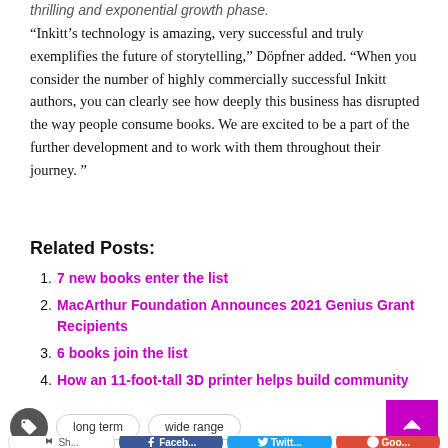thrilling and exponential growth phase.
“Inkitt’s technology is amazing, very successful and truly exemplifies the future of storytelling,” Döpfner added. “When you consider the number of highly commercially successful Inkitt authors, you can clearly see how deeply this business has disrupted the way people consume books. We are excited to be a part of the further development and to work with them throughout their journey.”
Related Posts:
7 new books enter the list
MacArthur Foundation Announces 2021 Genius Grant Recipients
6 books join the list
How an 11-foot-tall 3D printer helps build community
long term   wide range